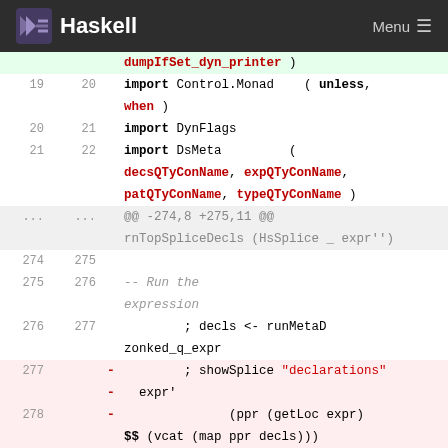Haskell — Menu
Code diff showing Haskell source changes, lines 19-278, including imports and showSplice/traceSplice modifications